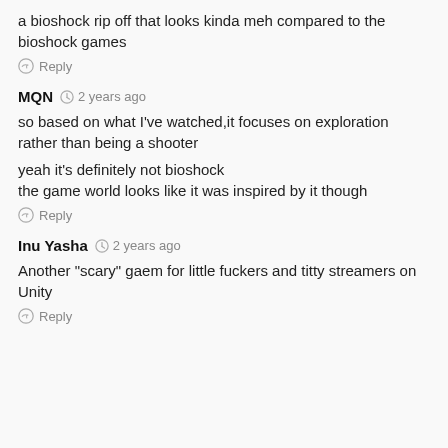a bioshock rip off that looks kinda meh compared to the bioshock games
Reply
MQN  2 years ago
so based on what I've watched,it focuses on exploration rather than being a shooter
yeah it's definitely not bioshock
the game world looks like it was inspired by it though
Reply
Inu Yasha  2 years ago
Another "scary" gaem for little fuckers and titty streamers on Unity
Reply